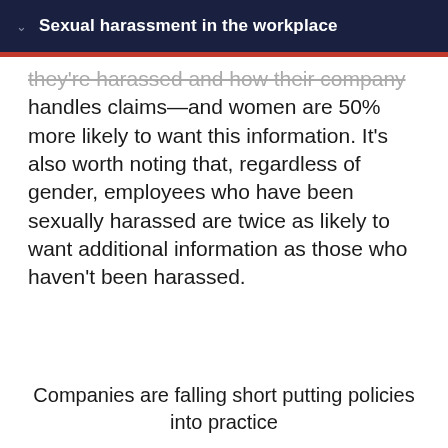Sexual harassment in the workplace
they're harassed and how their company handles claims—and women are 50% more likely to want this information. It's also worth noting that, regardless of gender, employees who have been sexually harassed are twice as likely to want additional information as those who haven't been harassed.
Companies are falling short putting policies into practice